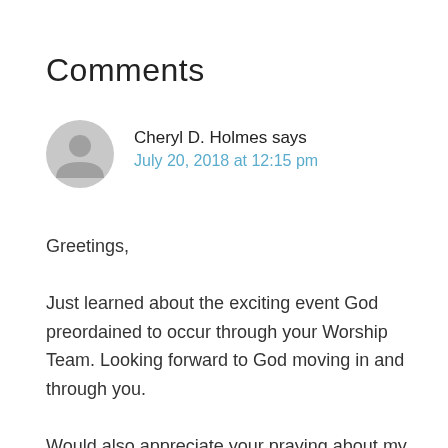Comments
Cheryl D. Holmes says
July 20, 2018 at 12:15 pm
Greetings,
Just learned about the exciting event God preordained to occur through your Worship Team. Looking forward to God moving in and through you.
Would also appreciate your praying about my joining your team.